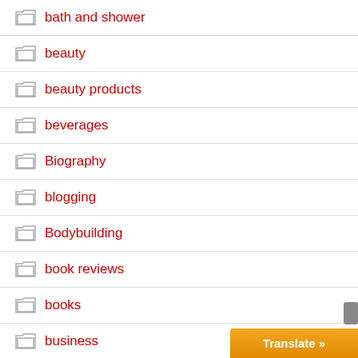bath and shower
beauty
beauty products
beverages
Biography
blogging
Bodybuilding
book reviews
books
business